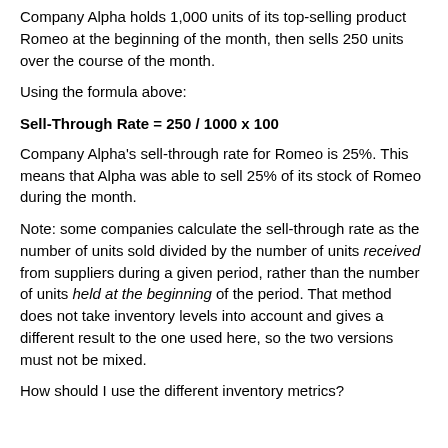Company Alpha holds 1,000 units of its top-selling product Romeo at the beginning of the month, then sells 250 units over the course of the month.
Using the formula above:
Company Alpha's sell-through rate for Romeo is 25%. This means that Alpha was able to sell 25% of its stock of Romeo during the month.
Note: some companies calculate the sell-through rate as the number of units sold divided by the number of units received from suppliers during a given period, rather than the number of units held at the beginning of the period. That method does not take inventory levels into account and gives a different result to the one used here, so the two versions must not be mixed.
How should I use the different inventory metrics?